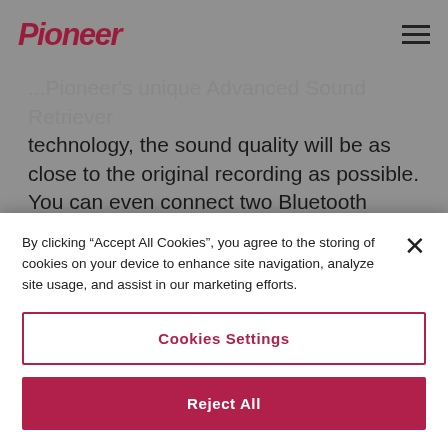Pioneer [logo] [hamburger menu]
Pioneer's unique Advanced Sound Retriever technology, the sound quality will be as close to the original recording as possible. You can even connect two Bluetooth phones simultaneously.
Its integrated DAB/DAB+ tuner lets you enjoy crystal-clear digital audio and interference-free reception. Even better: the included Time Shift
By clicking “Accept All Cookies”, you agree to the storing of cookies on your device to enhance site navigation, analyze site usage, and assist in our marketing efforts.
Cookies Settings
Reject All